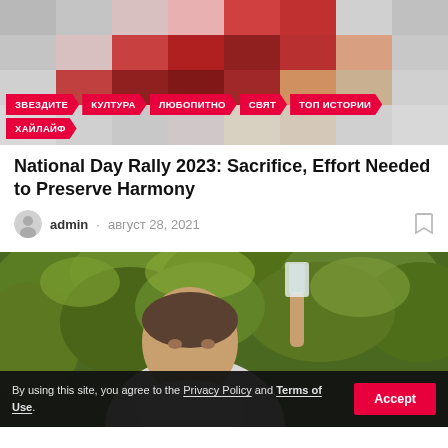[Figure (photo): Top decorative image with pixelated heart pattern in red and grey tones, with navigation category tags overlay]
ЗВЕЗДИТЕ / КУЛТУРА / ЛЮБОПИТНО / СВЯТ / ТОП ИСТОРИИ / ХАЙЛАЙФ
National Day Rally 2023: Sacrifice, Effort Needed to Preserve Harmony
admin · август 28, 2021
[Figure (photo): Man in white shirt raising a glass of champagne outdoors with green foliage background]
By using this site, you agree to the Privacy Policy and Terms of Use.